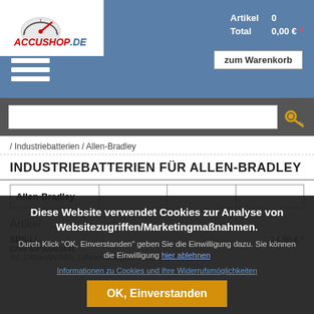[Figure (logo): ACCUSHOP.DE logo with speedometer graphic on white background in top-left header]
Artikel  0
Total  0,00 € *
zum Warenkorb
[Figure (other): Hamburger menu icon (three white horizontal lines)]
[Figure (other): Search bar with key icon on dark grey background]
/ Industriebatterien / Allen-Bradley
INDUSTRIEBATTERIEN FÜR ALLEN-BRADLEY
| Allen-Bradley |  |  |  |
| --- | --- | --- | --- |
Artikel
Diese Website verwendet Cookies zur Analyse von Websitezugriffen/Marketingmaßnahmen.
Durch Klick "OK, Einverstanden" geben Sie die Einwilligung dazu. Sie können die Einwilligung hier ablehnen
Informationen zu Cookies und Ihre Widerrufsmöglichkeiten
OK, Einverstanden
SPS-Li...
0299-MP10063441
3V, 1000mAh/3Wh, Lithium-Mangan-Oxid, Steckbare
14,90 € *